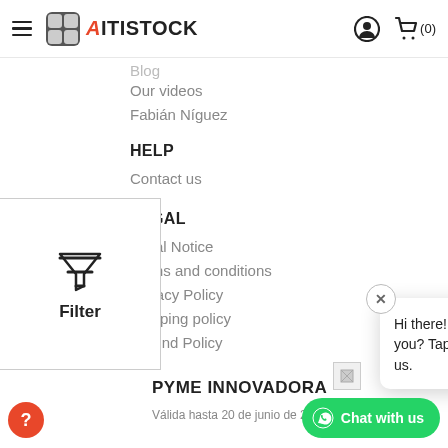AITISTOCK
Our videos
Fabián Níguez
HELP
Contact us
LEGAL
Legal Notice
Terms and conditions
Privacy Policy
Shipping policy
Refund Policy
[Figure (other): Filter panel with funnel icon and Filter label]
[Figure (other): Chat popup with X close button and message: Hi there! How can we help you? Tap here to chat with us.]
[Figure (other): Small image placeholder]
PYME INNOVADORA
Válida hasta 20 de junio de 2025
[Figure (other): WhatsApp Chat with us green button]
[Figure (other): Orange help/question mark circle button]